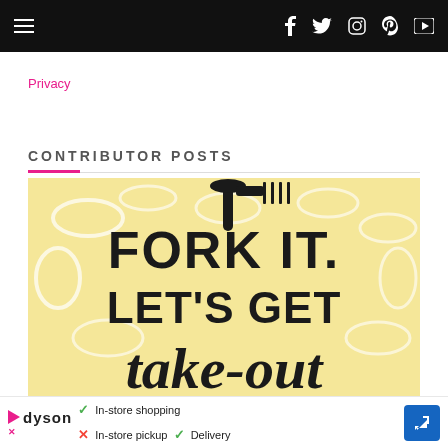Navigation bar with hamburger menu and social icons (f, twitter, instagram, pinterest, youtube)
Privacy
CONTRIBUTOR POSTS
[Figure (photo): Decorative art print on golden floral background reading 'FORK IT. LET'S GET take-out' with a fork silhouette at the top]
"Fork I..."
[Figure (infographic): Ad banner for Dyson showing In-store shopping (checkmark), In-store pickup (X), Delivery (checkmark) with navigation arrow icon]